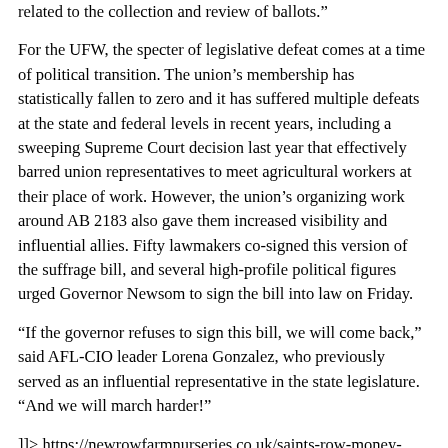related to the collection and review of ballots.”
For the UFW, the specter of legislative defeat comes at a time of political transition. The union’s membership has statistically fallen to zero and it has suffered multiple defeats at the state and federal levels in recent years, including a sweeping Supreme Court decision last year that effectively barred union representatives to meet agricultural workers at their place of work. However, the union’s organizing work around AB 2183 also gave them increased visibility and influential allies. Fifty lawmakers co-signed this version of the suffrage bill, and several high-profile political figures urged Governor Newsom to sign the bill into law on Friday.
“If the governor refuses to sign this bill, we will come back,” said AFL-CIO leader Lorena Gonzalez, who previously served as an influential representative in the state legislature. “And we will march harder!”
]]> https://newrowfarmnurseries.co.uk/saints-row-money-farming-guide/ Sat, 27 Aug 2022 16:46:37 +0000 https://newrowfarmnurseries.co.uk/saints-row-money-farming-guide/
To say money is important in Saints Row is an understatement. Without money, you cannot build your criminal empire in Saints Row. Looking for ways to make money fast should be your top